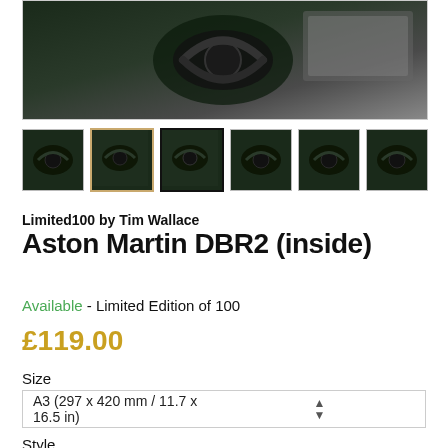[Figure (photo): Main product image of Aston Martin DBR2 interior/steering wheel detail, dark automotive photograph]
[Figure (photo): Row of 6 thumbnail images of Aston Martin DBR2 interior, showing steering wheel close-ups from slightly different angles. Second thumbnail has gold/tan border, third has black border.]
Limited100 by Tim Wallace
Aston Martin DBR2 (inside)
Available - Limited Edition of 100
£119.00
Size
A3 (297 x 420 mm / 11.7 x 16.5 in)
Style
Print-Only (Fine Art Paper)